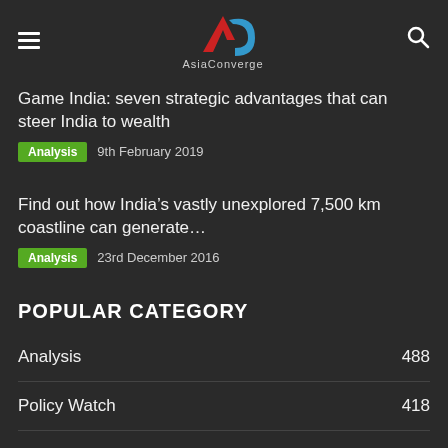AsiaConverge
Game India: seven strategic advantages that can steer India to wealth
Analysis  9th February 2019
Find out how India’s vastly unexplored 7,500 km coastline can generate…
Analysis  23rd December 2016
POPULAR CATEGORY
Analysis  488
Policy Watch  418
Adani  141